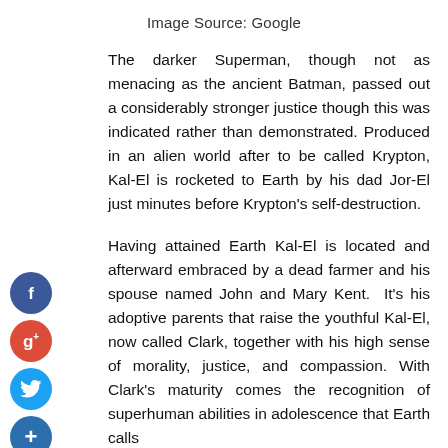Image Source: Google
The darker Superman, though not as menacing as the ancient Batman, passed out a considerably stronger justice though this was indicated rather than demonstrated. Produced in an alien world after to be called Krypton, Kal-El is rocketed to Earth by his dad Jor-El just minutes before Krypton's self-destruction.
Having attained Earth Kal-El is located and afterward embraced by a dead farmer and his spouse named John and Mary Kent. It's his adoptive parents that raise the youthful Kal-El, now called Clark, together with his high sense of morality, justice, and compassion. With Clark's maturity comes the recognition of superhuman abilities in adolescence that Earth calls...